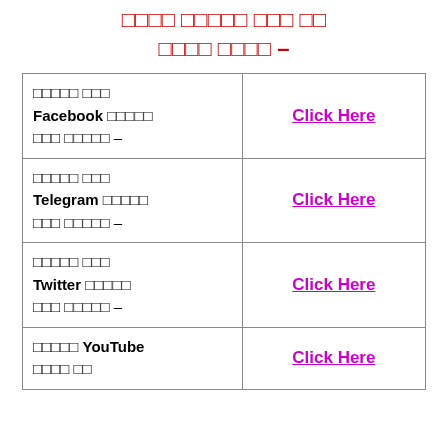□□□□ □□□□□ □□□ □□ □□□□ □□□□ –
| □□□□□ □□□ Facebook □□□□□ □□□ □□□□□ – | Click Here |
| □□□□□ □□□ Telegram □□□□□ □□□ □□□□□ – | Click Here |
| □□□□□ □□□ Twitter □□□□□ □□□ □□□□□ – | Click Here |
| □□□□□ YouTube □□□□ □□ | Click Here |